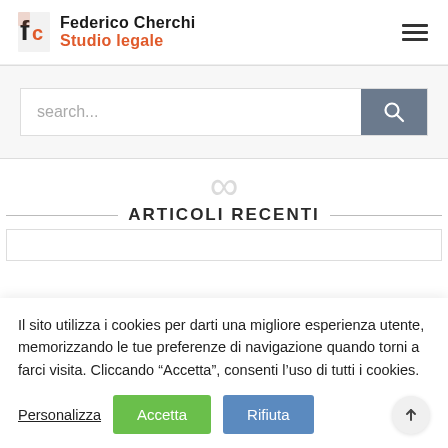Federico Cherchi Studio legale
[Figure (screenshot): Search bar with text input field showing 'search...' placeholder and a grey search button with magnifying glass icon]
ARTICOLI RECENTI
Il sito utilizza i cookies per darti una migliore esperienza utente, memorizzando le tue preferenze di navigazione quando torni a farci visita. Cliccando “Accetta”, consenti l’uso di tutti i cookies.
Personalizza
Accetta
Rifiuta